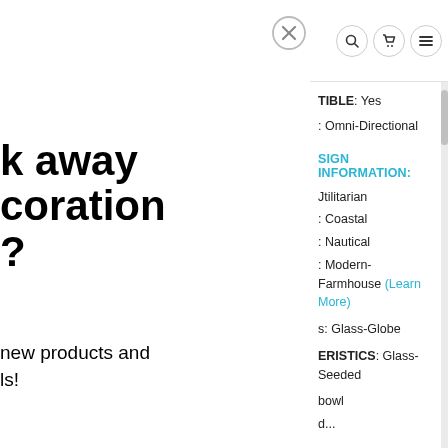[Figure (other): Close button (X circle icon) for modal overlay]
k away
coration
?
new products and
ls!
[Figure (other): Email input box]
actor?
Navigation icons: search, cart, menu
TIBLE: Yes
: Omni-Directional
SIGN INFORMATION:
Jtilitarian
: Coastal
: Nautical
: Modern-Farmhouse (Learn More)
s: Glass-Globe
ERISTICS: Glass-Seeded
bowl
d...